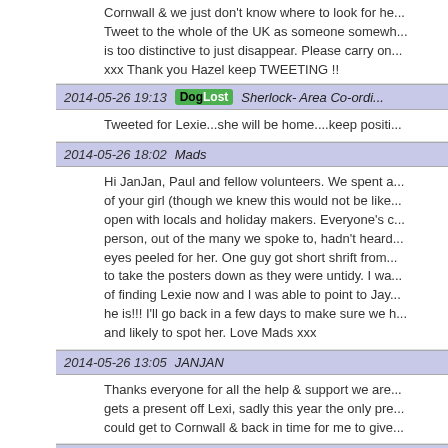Cornwall & we just don't know where to look for he... Tweet to the whole of the UK as someone somewh... is too distinctive to just disappear. Please carry on... xxx Thank you Hazel keep TWEETING !!
2014-05-26 19:13  DogLost  Sherlock- Area Co-ordi...
Tweeted for Lexie...she will be home....keep positi...
2014-05-26 18:02  Mads
Hi JanJan, Paul and fellow volunteers. We spent a... of your girl (though we knew this would not be like... open with locals and holiday makers. Everyone's c... person, out of the many we spoke to, hadn't heard... eyes peeled for her. One guy got short shrift from... to take the posters down as they were untidy. I wa... of finding Lexie now and I was able to point to Jay... he is!!! I'll go back in a few days to make sure we h... and likely to spot her. Love Mads xxx
2014-05-26 13:05  JANJAN
Thanks everyone for all the help & support we are... gets a present off Lexi, sadly this year the only pre... could get to Cornwall & back in time for me to give...
2014-05-26 12:32  DogLost  Bobble - Area Co-ordin...
Jan and Paul you are never far from my thoughts a... where she was lost, everybody reading this needs...